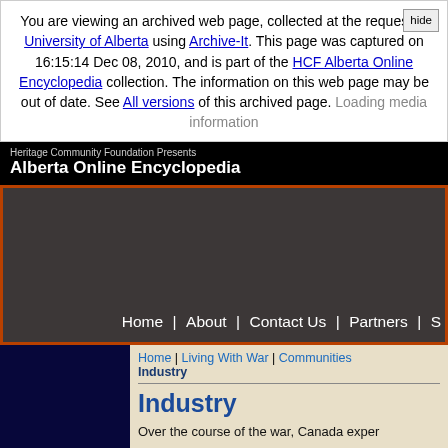You are viewing an archived web page, collected at the request of University of Alberta using Archive-It. This page was captured on 16:15:14 Dec 08, 2010, and is part of the HCF Alberta Online Encyclopedia collection. The information on this web page may be out of date. See All versions of this archived page. Loading media information
Heritage Community Foundation Presents
Alberta Online Encyclopedia
[Figure (screenshot): Dark navigation area with orange border containing a navigation bar at the bottom showing: Home | About | Contact Us | Partners | S]
Home | Living With War | Communities
Industry
Industry
Over the course of the war, Canada exper